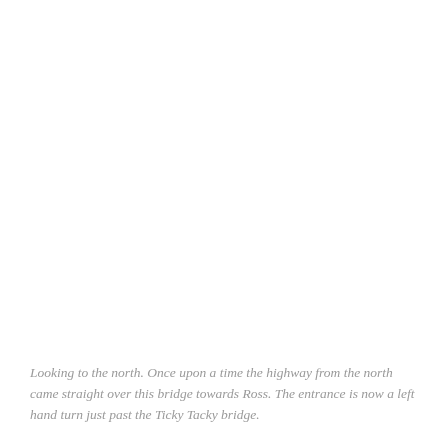Looking to the north. Once upon a time the highway from the north came straight over this bridge towards Ross. The entrance is now a left hand turn just past the Ticky Tacky bridge.